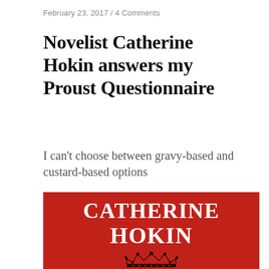February 23, 2017 / 4 Comments
Novelist Catherine Hokin answers my Proust Questionnaire
I can't choose between gravy-based and custard-based options
[Figure (illustration): Red book cover with white serif text reading CATHERINE HOKIN in large capitals, with a decorative crown motif in black below the text on a red background]